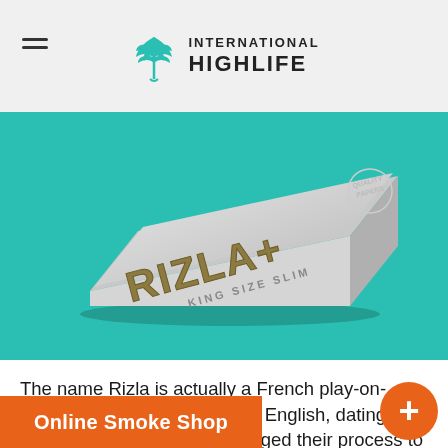INTERNATIONAL HIGHLIFE
[Figure (photo): Rizla+ King Size Slim rolling papers package, silver/grey colored rectangular box shown at an angle on a teal background]
The name Rizla is actually a French play-on-words, for “La Riz” or “rice” in English, dating back to 1865 when they changed their process to use rice instead of tissue. A top selling brand worldwide, Rizla papers are [sold in many coun]tries.
Online Smoke Shop